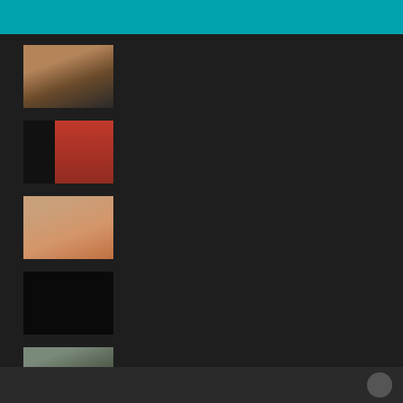[Figure (screenshot): Teal/cyan colored header bar at top of page]
[Figure (screenshot): Thumbnail 1: two people in a warm-toned indoor scene]
[Figure (screenshot): Thumbnail 2: figure against red background with black letterbox bars]
[Figure (screenshot): Thumbnail 3: blonde person, warm skin tones]
[Figure (screenshot): Thumbnail 4: mostly black/dark image]
[Figure (screenshot): Thumbnail 5: two people in indoor setting with grey/blue tones]